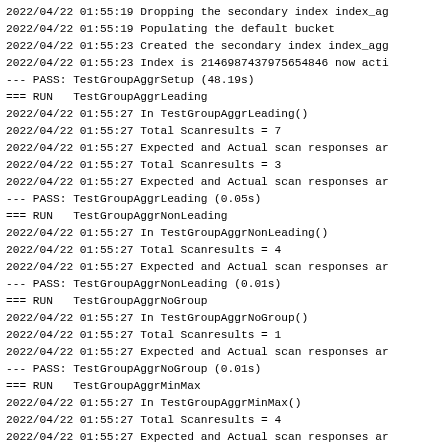2022/04/22 01:55:19 Dropping the secondary index index_ag
2022/04/22 01:55:19 Populating the default bucket
2022/04/22 01:55:23 Created the secondary index index_agg
2022/04/22 01:55:23 Index is 2146987437975654846 now acti
--- PASS: TestGroupAggrSetup (48.19s)
=== RUN   TestGroupAggrLeading
2022/04/22 01:55:27 In TestGroupAggrLeading()
2022/04/22 01:55:27 Total Scanresults = 7
2022/04/22 01:55:27 Expected and Actual scan responses ar
2022/04/22 01:55:27 Total Scanresults = 3
2022/04/22 01:55:27 Expected and Actual scan responses ar
--- PASS: TestGroupAggrLeading (0.05s)
=== RUN   TestGroupAggrNonLeading
2022/04/22 01:55:27 In TestGroupAggrNonLeading()
2022/04/22 01:55:27 Total Scanresults = 4
2022/04/22 01:55:27 Expected and Actual scan responses ar
--- PASS: TestGroupAggrNonLeading (0.01s)
=== RUN   TestGroupAggrNoGroup
2022/04/22 01:55:27 In TestGroupAggrNoGroup()
2022/04/22 01:55:27 Total Scanresults = 1
2022/04/22 01:55:27 Expected and Actual scan responses ar
--- PASS: TestGroupAggrNoGroup (0.01s)
=== RUN   TestGroupAggrMinMax
2022/04/22 01:55:27 In TestGroupAggrMinMax()
2022/04/22 01:55:27 Total Scanresults = 4
2022/04/22 01:55:27 Expected and Actual scan responses ar
--- PASS: TestGroupAggrMinMax (0.00s)
=== RUN   TestGroupAggrMinMax2
2022/04/22 01:55:27 In TestGroupAggrMinMax()
2022/04/22 01:55:27 Total Scanresults = 1